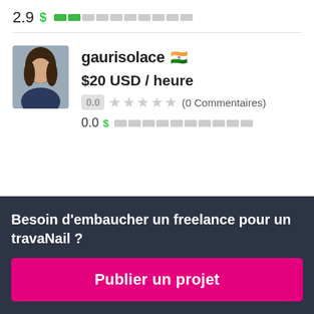2.9 $ ██░░░░░░░░
gaurisolace 🇮🇳
$20 USD / heure
0.0 ★★★★★ (0 Commentaires)
0.0 $ ░░░░░░░░░░
Besoin d'embaucher un freelance pour un travail ?
Publier un projet